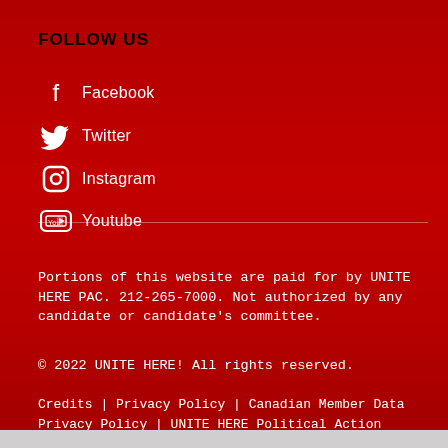FOLLOW US
Facebook
Twitter
Instagram
Youtube
Portions of this website are paid for by UNITE HERE PAC. 212-265-7000. Not authorized by any candidate or candidate's committee.
© 2022 UNITE HERE! All rights reserved.
Credits | Privacy Policy | Canadian Member Data Privacy Policy | UNITE HERE Political Action Committees